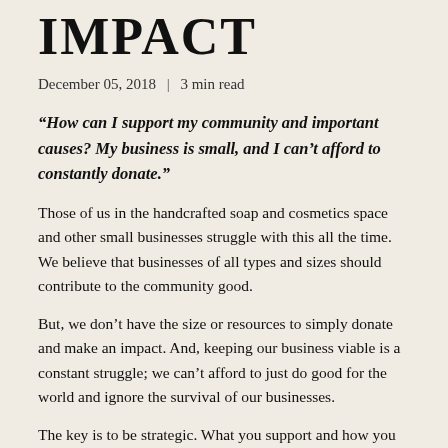IMPACT
December 05, 2018  |  3 min read
“How can I support my community and important causes? My business is small, and I can’t afford to constantly donate.”
Those of us in the handcrafted soap and cosmetics space and other small businesses struggle with this all the time. We believe that businesses of all types and sizes should contribute to the community good.
But, we don’t have the size or resources to simply donate and make an impact. And, keeping our business viable is a constant struggle; we can’t afford to just do good for the world and ignore the survival of our businesses.
The key is to be strategic. What you support and how you support it should have impact and meaning, for